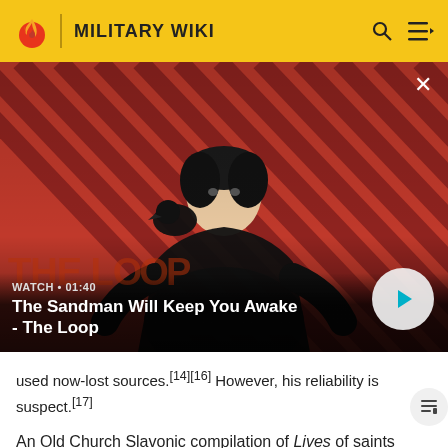MILITARY WIKI
[Figure (screenshot): Video thumbnail showing a dark-cloaked figure with a raven on shoulder against a red diagonal striped background. Overlay text reads: WATCH · 01:40 / The Sandman Will Keep You Awake - The Loop. A play button circle is at bottom right.]
used now-lost sources.[14][16] However, his reliability is suspect.[17]
An Old Church Slavonic compilation of Lives of saints preserved an eyewitness account on the Bulgarian-Byzantine war of 894–896.[18][19] The first[20] Life of Saint